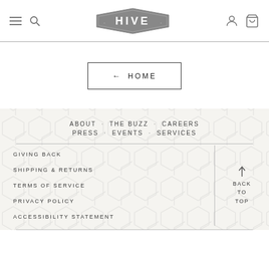HIVE — navigation header with hamburger, search, logo, user and cart icons
← HOME
ABOUT · THE BUZZ · CAREERS
PRESS · EVENTS · SERVICES
GIVING BACK
SHIPPING & RETURNS
TERMS OF SERVICE
PRIVACY POLICY
ACCESSIBILITY STATEMENT
BACK TO TOP